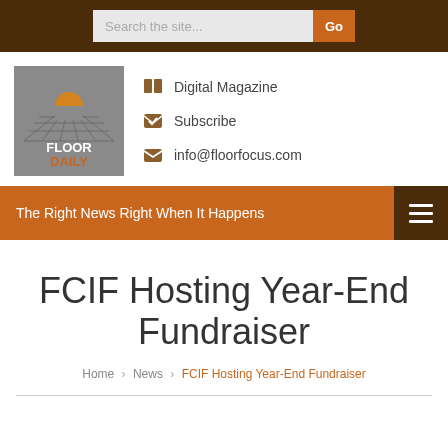Search the site... Go
[Figure (logo): Floor Daily logo: grey square with grid/floor pattern and orange sun, text FLOOR DAILY]
Digital Magazine
Subscribe
info@floorfocus.com
The Right News Right When It Happens
FCIF Hosting Year-End Fundraiser
Home › News › FCIF Hosting Year-End Fundraiser